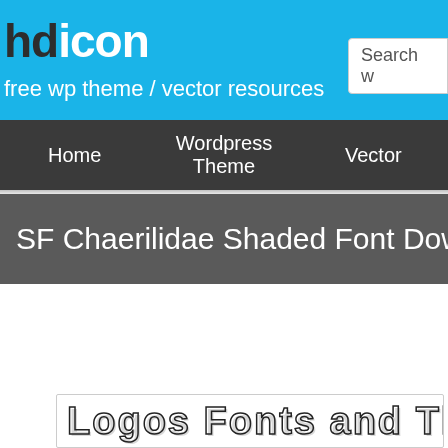hdicon - free wp theme / vector resources
Search w
Home | Wordpress Theme | Vector
SF Chaerilidae Shaded Font Download
Tweet
Preview text   Logos Fonts and Themes
[Figure (screenshot): Font preview box showing 'Logos Fonts and Them' rendered in SF Chaerilidae Shaded font with outlined block letters]